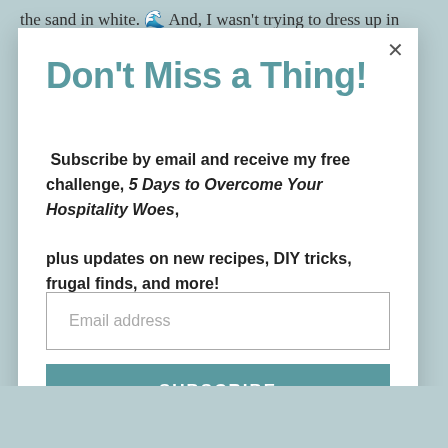the sand in white. 🌊 And, I wasn't trying to dress up in
Don't Miss a Thing!
Subscribe by email and receive my free challenge, 5 Days to Overcome Your Hospitality Woes, plus updates on new recipes, DIY tricks, frugal finds, and more!
Email address
SUBSCRIBE